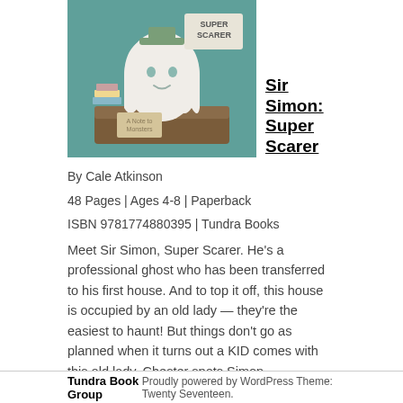[Figure (illustration): Book cover illustration of Sir Simon: Super Scarer showing a cute ghost character sitting at a desk with books and a treasure chest, teal/green background]
Sir Simon: Super Scarer
By Cale Atkinson
48 Pages | Ages 4-8 | Paperback
ISBN 9781774880395 | Tundra Books
Meet Sir Simon, Super Scarer. He's a professional ghost who has been transferred to his first house. And to top it off, this house is occupied by an old lady — they're the easiest to haunt! But things don't go as planned when it turns out a KID comes with this old lady. Chester spots Simon immediately and peppers him with questions. Simon is exasperated. . . until he realizes he can trick Chester into doing his ghost chores. After a long night of haunting, it seems that maybe Chester isn't cut out to be a ghost, so Simon decides to help with Chester's human...
Tundra Book Group   Proudly powered by WordPress Theme: Twenty Seventeen.